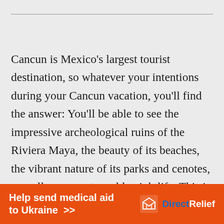Cancun is Mexico's largest tourist destination, so whatever your intentions during your Cancun vacation, you'll find the answer: You'll be able to see the impressive archeological ruins of the Riviera Maya, the beauty of its beaches, the vibrant nature of its parks and cenotes, as well as an unstoppable nightlife. This is the most complete and updated to 2020 guide, where I will
[Figure (other): Orange advertisement banner for Direct Relief reading 'Help send medical aid to Ukraine >>' with the Direct Relief logo on the right]